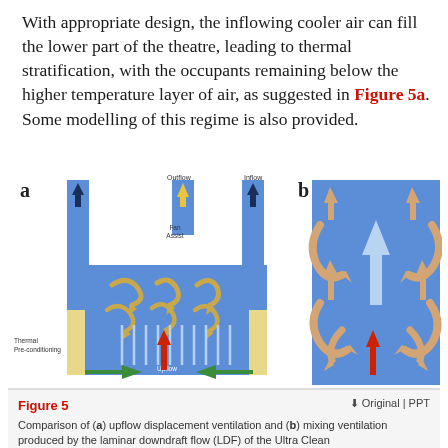With appropriate design, the inflowing cooler air can fill the lower part of the theatre, leading to thermal stratification, with the occupants remaining below the higher temperature layer of air, as suggested in Figure 5a. Some modelling of this regime is also provided.
[Figure (illustration): Two diagrams side by side labeled a and b. Diagram a shows upflow displacement ventilation with blue vertical ducts, arrows, thermal pre-conditioning labels, fan assist label, and swirling arrows inside a blue chamber. Green arrows point right at the bottom. A red upward arrow in the center. Diagram b shows mixing ventilation produced by laminar downdraft flow with a blue background, large tan curved arrows swirling, a light blue downward arrow in the center, and a red upward arrow at bottom.]
Figure 5  Comparison of (a) upflow displacement ventilation and (b) mixing ventilation produced by the laminar downdraft flow (LDF) of the Ultra Clean